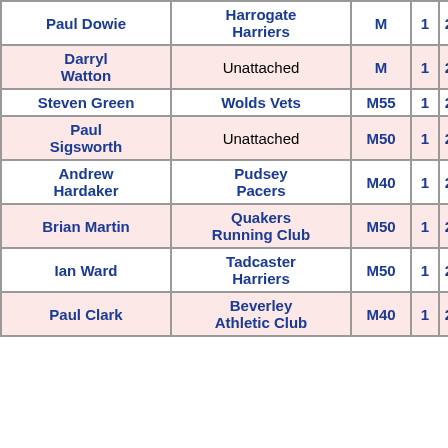| Name | Club | Cat | Laps | Time-min | Time-sec |
| --- | --- | --- | --- | --- | --- |
| Paul Dowie | Harrogate Harriers | M | 1 | 29 |  |
| Darryl Watton | Unattached | M | 1 | 29 |  |
| Steven Green | Wolds Vets | M55 | 1 | 29 |  |
| Paul Sigsworth | Unattached | M50 | 1 | 29 |  |
| Andrew Hardaker | Pudsey Pacers | M40 | 1 | 29 |  |
| Brian Martin | Quakers Running Club | M50 | 1 | 29 |  |
| Ian Ward | Tadcaster Harriers | M50 | 1 | 29 |  |
| Paul Clark | Beverley Athletic Club | M40 | 1 | 29 |  |